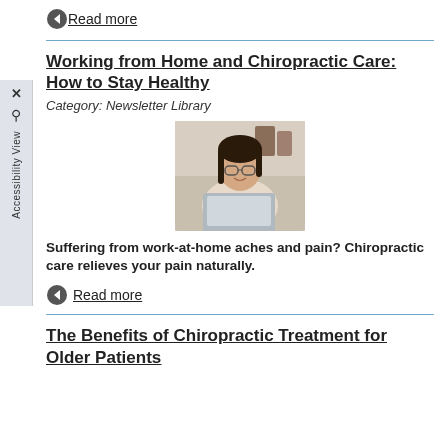Read more
Working from Home and Chiropractic Care: How to Stay Healthy
Category: Newsletter Library
[Figure (photo): A woman with glasses working on a laptop in a home office setting, smiling slightly]
Suffering from work-at-home aches and pain? Chiropractic care relieves your pain naturally.
Read more
The Benefits of Chiropractic Treatment for Older Patients